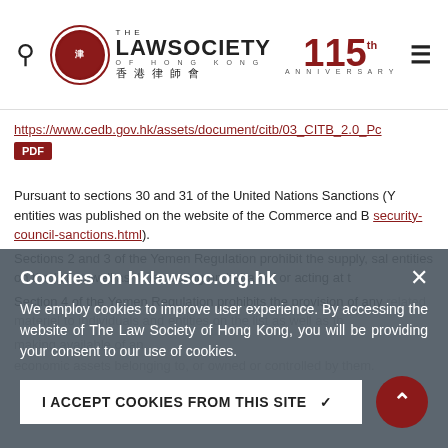The Law Society of Hong Kong – 115th Anniversary
https://www.cedb.gov.hk/assets/document/citb/03_CITB_2.0_Pc [PDF]
Pursuant to sections 30 and 31 of the United Nations Sanctions (Y entities was published on the website of the Commerce and B security-council-sanctions.html). Sections 2 and 3 of the Yemen Regulation prohibit the supply, sal entities on the list as well as those acting on behalf of or acting at t Section 4 of the Yemen Regulation prohibits the provision of any related materiel to individuals and entities on the list as well as th making available of an economic assets belonging to, or owned or controlled by them.
Cookies on hklawsoc.org.hk
We employ cookies to improve user experience. By accessing the website of The Law Society of Hong Kong, you will be providing your consent to our use of cookies.
I ACCEPT COOKIES FROM THIS SITE ✓